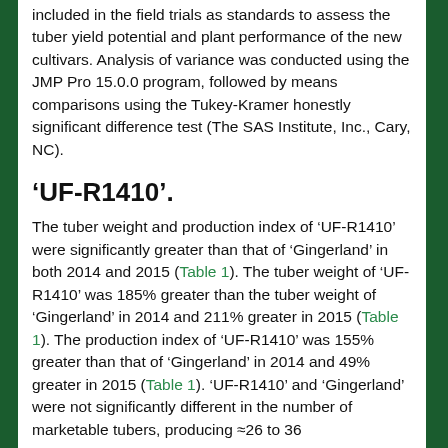included in the field trials as standards to assess the tuber yield potential and plant performance of the new cultivars. Analysis of variance was conducted using the JMP Pro 15.0.0 program, followed by means comparisons using the Tukey-Kramer honestly significant difference test (The SAS Institute, Inc., Cary, NC).
‘UF-R1410’.
The tuber weight and production index of ‘UF-R1410’ were significantly greater than that of ‘Gingerland’ in both 2014 and 2015 (Table 1). The tuber weight of ‘UF-R1410’ was 185% greater than the tuber weight of ‘Gingerland’ in 2014 and 211% greater in 2015 (Table 1). The production index of ‘UF-R1410’ was 155% greater than that of ‘Gingerland’ in 2014 and 49% greater in 2015 (Table 1). ‘UF-R1410’ and ‘Gingerland’ were not significantly different in the number of marketable tubers, producing ≈26 to 36